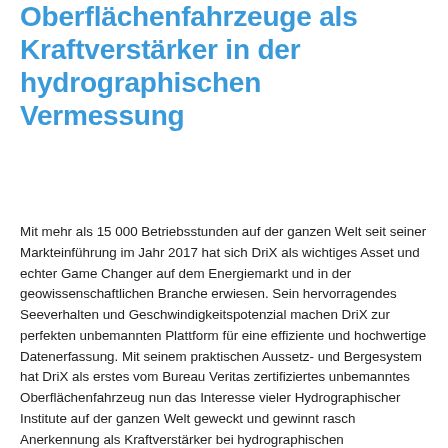Oberflächenfahrzeuge als Kraftverstärker in der hydrographischen Vermessung
Mit mehr als 15 000 Betriebsstunden auf der ganzen Welt seit seiner Markteinführung im Jahr 2017 hat sich DriX als wichtiges Asset und echter Game Changer auf dem Energiemarkt und in der geowissenschaftlichen Branche erwiesen. Sein hervorragendes Seeverhalten und Geschwindigkeitspotenzial machen DriX zur perfekten unbemannten Plattform für eine effiziente und hochwertige Datenerfassung. Mit seinem praktischen Aussetz- und Bergesystem hat DriX als erstes vom Bureau Veritas zertifiziertes unbemanntes Oberflächenfahrzeug nun das Interesse vieler Hydrographischer Institute auf der ganzen Welt geweckt und gewinnt rasch Anerkennung als Kraftverstärker bei hydrographischen Vermessungen.